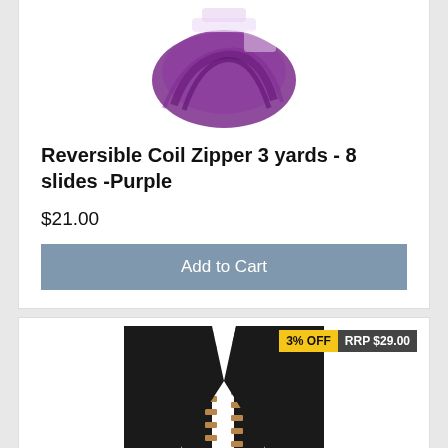[Figure (photo): Purple reversible coil zipper in packaging, top portion visible]
Reversible Coil Zipper 3 yards - 8 slides -Purple
$21.00
Add to Cart
[Figure (photo): Black zipper with gold/bronze metallic teeth and slider, partially open, on white background. Badge: 3% OFF, RRP $29.00]